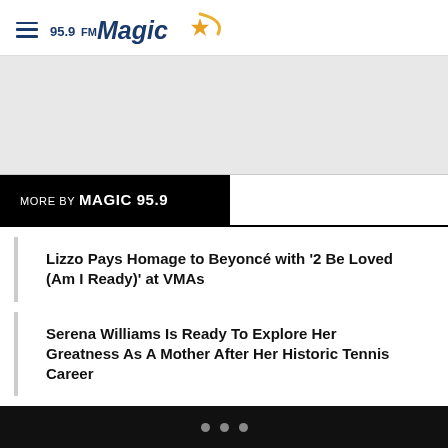95.9FM Magic
[Figure (other): Gray advertisement/content placeholder area]
MORE BY MAGIC 95.9
Lizzo Pays Homage to Beyoncé with '2 Be Loved (Am I Ready)' at VMAs
Serena Williams Is Ready To Explore Her Greatness As A Mother After Her Historic Tennis Career
Level Up: Karen Civil Promoted To General Manager & Executive Vice President of Young Money Records
• • •